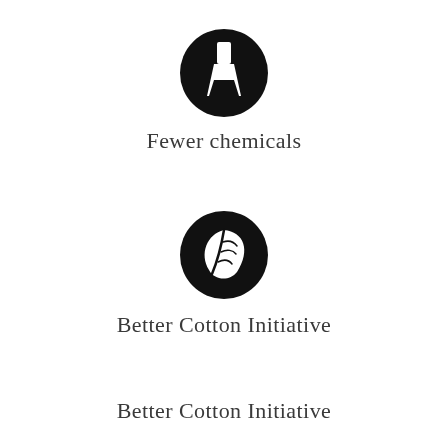[Figure (illustration): Black circle icon containing a white chemistry flask/beaker with dots]
Fewer chemicals
[Figure (illustration): Black circle icon containing a white leaf shape]
Better Cotton Initiative
Better Cotton Initiative